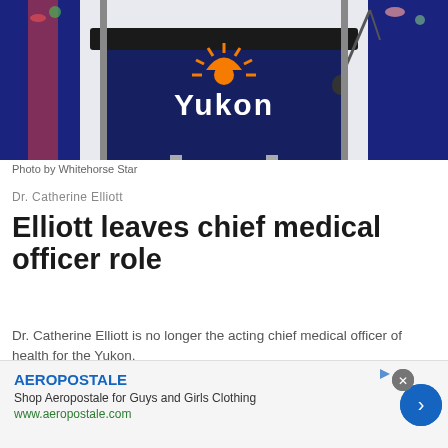[Figure (photo): Photo of a Yukon government podium with the Yukon logo (orange sunburst above 'Yukon' text in white), flanked by flags, with a microphone stand visible on the right.]
Photo by Whitehorse Star
Dr. Catherine Elliott
Elliott leaves chief medical officer role
Dr. Catherine Elliott is no longer the acting chief medical officer of health for the Yukon.
By Whitehorse Star on May 19, 2022
[Figure (screenshot): Advertisement overlay for Aeropostale: 'AEROPOSTALE' in blue bold text, 'Shop Aeropostale for Guys and Girls Clothing', 'www.aeropostale.com' in green, with a blue circular arrow button and a grey close (X) button.]